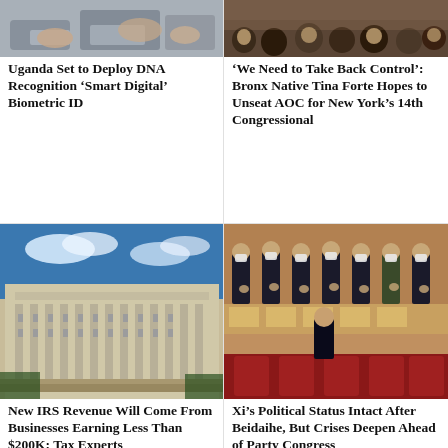[Figure (photo): Close-up of hands and documents, related to DNA/biometric identification]
Uganda Set to Deploy DNA Recognition ‘Smart Digital’ Biometric ID
[Figure (photo): People at a political event, crowd scene]
‘We Need to Take Back Control’: Bronx Native Tina Forte Hopes to Unseat AOC for New York’s 14th Congressional
[Figure (photo): Large government building with columns, IRS building exterior]
New IRS Revenue Will Come From Businesses Earning Less Than $200K: Tax Experts
[Figure (photo): Men in suits applauding at a formal Chinese political gathering, Xi walking]
Xi’s Political Status Intact After Beidaihe, But Crises Deepen Ahead of Party Congress